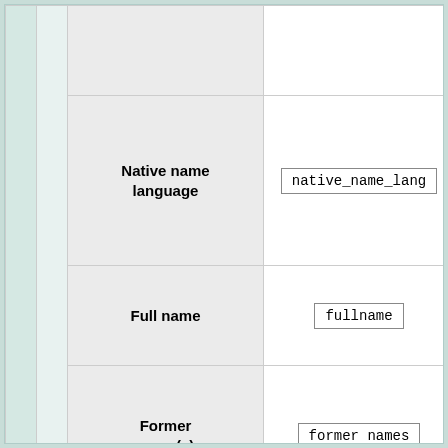|  |  | Parameter name | Template parameter | Description |
| --- | --- | --- | --- | --- |
|  |  | language | language | language |
|  |  | Native name language | native_name_lang | If {{{native... present, language... language... value |
|  |  | Full name | fullname | Official f... the venu... |
|  |  | Former name(s) | former names | Venue's name(s) "Formerl... year)" |
|  |  | ... |  | Image li... |